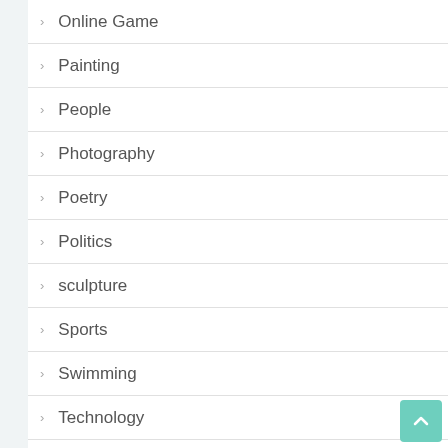Online Game
Painting
People
Photography
Poetry
Politics
sculpture
Sports
Swimming
Technology